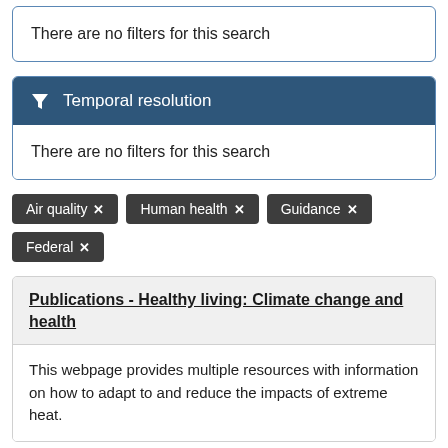There are no filters for this search
Temporal resolution
There are no filters for this search
Air quality ×
Human health ×
Guidance ×
Federal ×
Publications - Healthy living: Climate change and health
This webpage provides multiple resources with information on how to adapt to and reduce the impacts of extreme heat.